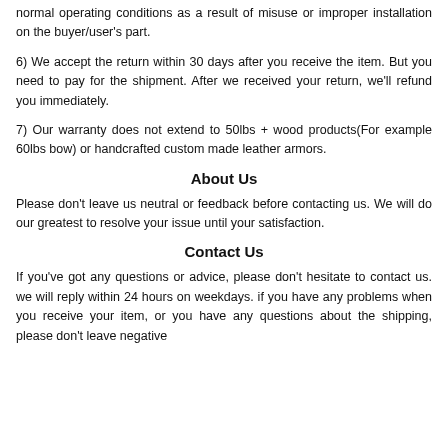normal operating conditions as a result of misuse or improper installation on the buyer/user's part.
6) We accept the return within 30 days after you receive the item. But you need to pay for the shipment. After we received your return, we'll refund you immediately.
7) Our warranty does not extend to 50lbs + wood products(For example 60lbs bow) or handcrafted custom made leather armors.
About Us
Please don't leave us neutral or feedback before contacting us. We will do our greatest to resolve your issue until your satisfaction.
Contact Us
If you've got any questions or advice, please don't hesitate to contact us. we will reply within 24 hours on weekdays. if you have any problems when you receive your item, or you have any questions about the shipping, please don't leave negative